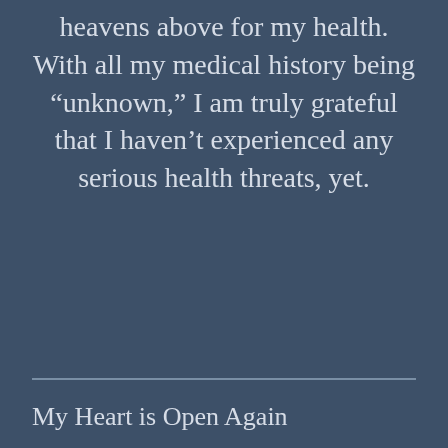heavens above for my health. With all my medical history being “unknown,” I am truly grateful that I haven’t experienced any serious health threats, yet.
My Heart is Open Again